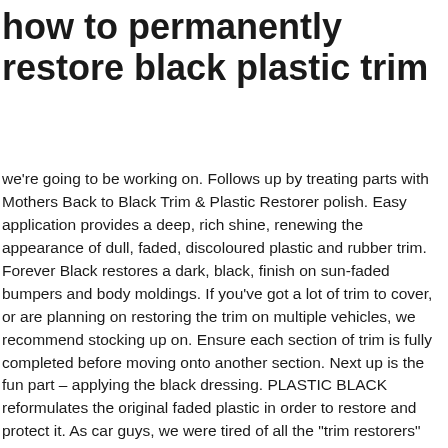how to permanently restore black plastic trim
we're going to be working on. Follows up by treating parts with Mothers Back to Black Trim & Plastic Restorer polish. Easy application provides a deep, rich shine, renewing the appearance of dull, faded, discoloured plastic and rubber trim. Forever Black restores a dark, black, finish on sun-faded bumpers and body moldings. If you've got a lot of trim to cover, or are planning on restoring the trim on multiple vehicles, we recommend stocking up on. Ensure each section of trim is fully completed before moving onto another section. Next up is the fun part – applying the black dressing. PLASTIC BLACK reformulates the original faded plastic in order to restore and protect it. As car guys, we were tired of all the "trim restorers" and coatings for our faded black trim that looked good, for a few days, then just went away after we washed our vehicles. Well the answer is yes, it is very much possible to permanently restore black trim on car. Gtechniq C4 is powerful stuff – so it's important to apply it correctly. After a time, most exterior parts on the car will start to show signs of fading, wear, or degradation. But the one I used was called T-Cut Bumper & Trim Treatment. Wait for the product to